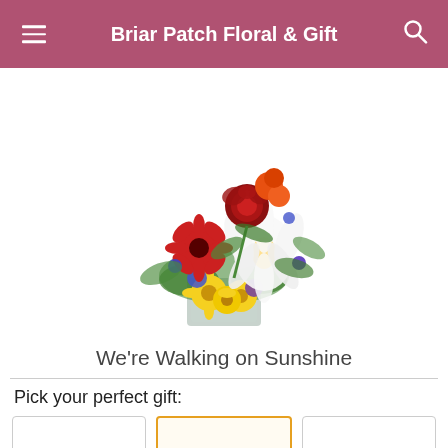Briar Patch Floral & Gift
[Figure (photo): A colorful flower bouquet arrangement in a square glass vase, featuring red roses, red and yellow gerbera daisies, white lilies, orange flowers, purple/blue flowers, and greenery.]
We're Walking on Sunshine
Pick your perfect gift: